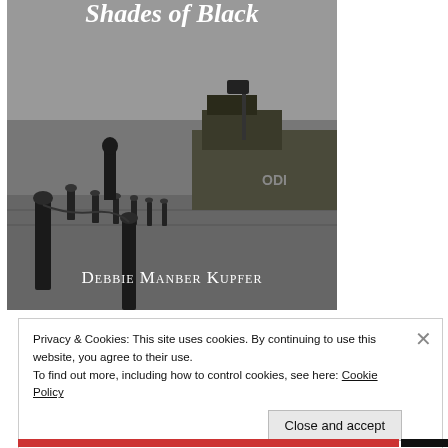[Figure (photo): Black and white book cover image showing a man standing on a dock or pier with bollards and a boat/barge in the background. Title 'Shades of Black' appears at top. Author name 'Debbie Manber Kupfer' appears in white small-caps text at the bottom of the image.]
Privacy & Cookies: This site uses cookies. By continuing to use this website, you agree to their use.
To find out more, including how to control cookies, see here: Cookie Policy
Close and accept